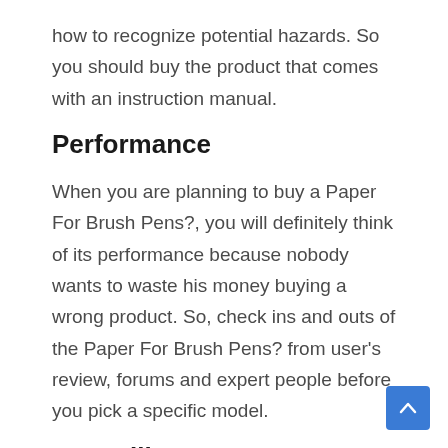how to recognize potential hazards. So you should buy the product that comes with an instruction manual.
Performance
When you are planning to buy a Paper For Brush Pens?, you will definitely think of its performance because nobody wants to waste his money buying a wrong product. So, check ins and outs of the Paper For Brush Pens? from user's review, forums and expert people before you pick a specific model.
Versatility
It can be frustrating when you buy something and it turns out three days later that it is not what you